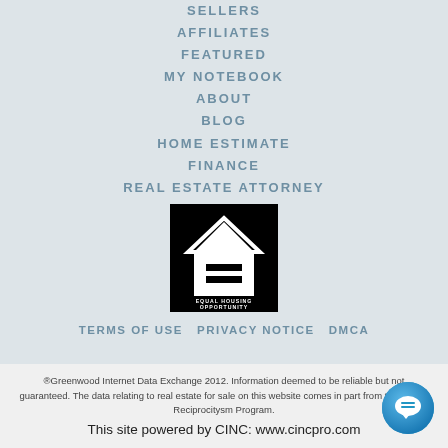SELLERS
AFFILIATES
FEATURED
MY NOTEBOOK
ABOUT
BLOG
HOME ESTIMATE
FINANCE
REAL ESTATE ATTORNEY
[Figure (logo): Equal Housing Opportunity logo — white house icon with equal sign on black background, text: EQUAL HOUSING OPPORTUNITY]
TERMS OF USE  PRIVACY NOTICE  DMCA
®Greenwood Internet Data Exchange 2012. Information deemed to be reliable but not guaranteed. The data relating to real estate for sale on this website comes in part from the Broker Reciprocitysm Program.
This site powered by CINC: www.cincpro.com